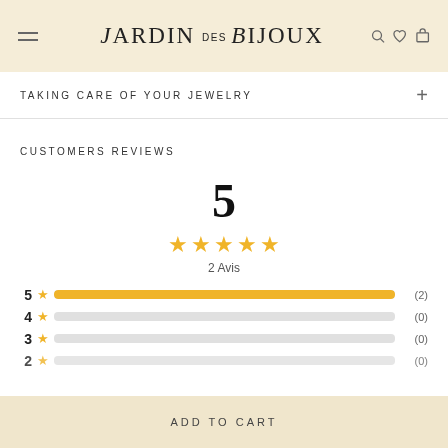Jardin des Bijoux
TAKING CARE OF YOUR JEWELRY
CUSTOMERS REVIEWS
[Figure (other): Rating display showing score of 5 with 5 filled gold stars and 2 Avis (reviews). Below are rating bars: 5 stars (2), 4 stars (0), 3 stars (0), 2 stars (0).]
ADD TO CART